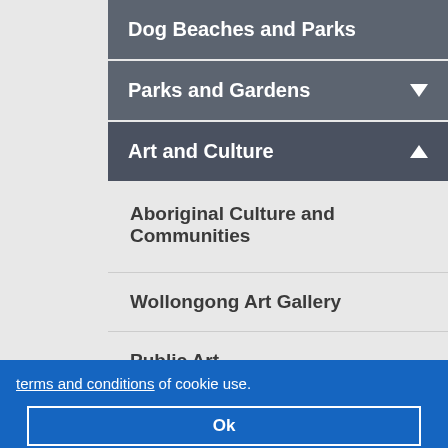Dog Beaches and Parks
Parks and Gardens
Art and Culture
Aboriginal Culture and Communities
Wollongong Art Gallery
Public Art
Creative Wollongong Studios
terms and conditions of cookie use.
Ok